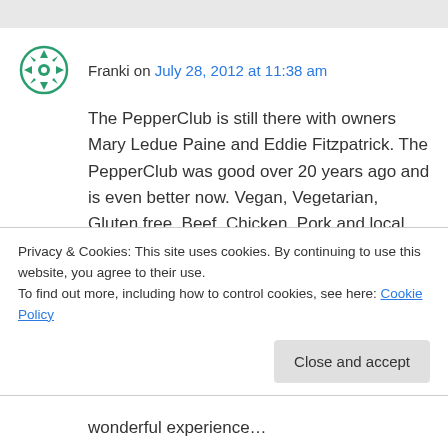Franki on July 28, 2012 at 11:38 am
The PepperClub is still there with owners Mary Ledue Paine and Eddie Fitzpatrick. The PepperClub was good over 20 years ago and is even better now. Vegan, Vegetarian, Gluten free, Beef, Chicken, Pork and local Fish. You will just about die eating the amazing desserts. Mary was at the Original GoodEgg and now has the GoodEgg breakfast Tuesday thru Sunday. If you
Privacy & Cookies: This site uses cookies. By continuing to use this website, you agree to their use.
To find out more, including how to control cookies, see here: Cookie Policy
Close and accept
wonderful experience…